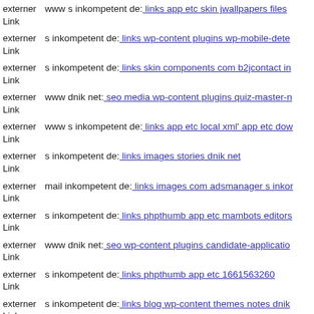externer Link  www s inkompetent de: links app etc skin jwallpapers files
externer Link  s inkompetent de: links wp-content plugins wp-mobile-dete
externer Link  s inkompetent de: links skin components com b2jcontact in
externer Link  www dnik net: seo media wp-content plugins quiz-master-n
externer Link  www s inkompetent de: links app etc local xml' app etc dow
externer Link  s inkompetent de: links images stories dnik net
externer Link  mail inkompetent de: links images com adsmanager s inkor
externer Link  s inkompetent de: links phpthumb app etc mambots editors
externer Link  www dnik net: seo wp-content plugins candidate-applicatio
externer Link  s inkompetent de: links phpthumb app etc 1661563260
externer Link  s inkompetent de: links blog wp-content themes notes dnik
externer